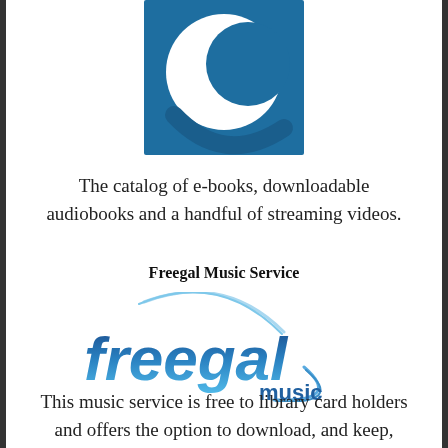[Figure (logo): Overdrive/library e-book service logo — blue square with white crescent C shape on dark teal background]
The catalog of e-books, downloadable audiobooks and a handful of streaming videos.
Freegal Music Service
[Figure (logo): Freegal Music logo — stylized text 'freegal' in gradient blue with 'music' below, surrounded by swoosh arc lines]
This music service is free to library card holders and offers the option to download, and keep,